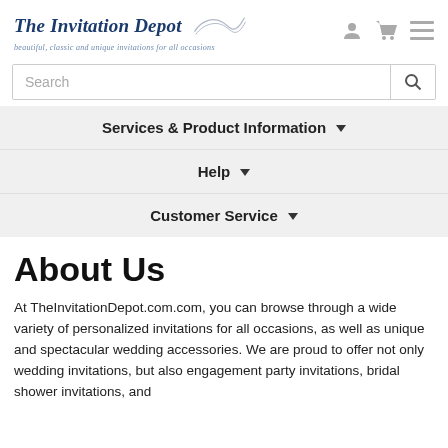The Invitation Depot — beautiful, classic and unique invitations for all occasions
Search
Services & Product Information ▼
Help ▼
Customer Service ▼
About Us
At TheInvitationDepot.com.com, you can browse through a wide variety of personalized invitations for all occasions, as well as unique and spectacular wedding accessories. We are proud to offer not only wedding invitations, but also engagement party invitations, bridal shower invitations, and